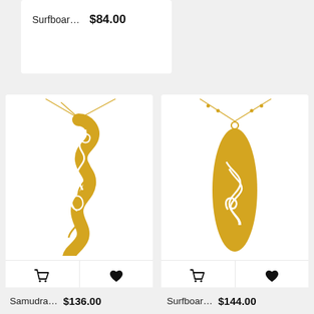Surfboar…  $84.00
[Figure (photo): Gold wave/tribal design pendant necklace on white background - Samudra necklace]
[Figure (photo): Gold surfboard-shaped pendant with tribal wave design necklace on white background - Surfboard necklace]
Samudra…  $136.00
Surfboar…  $144.00